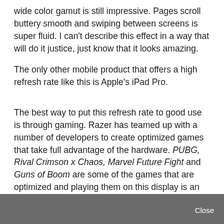wide color gamut is still impressive. Pages scroll buttery smooth and swiping between screens is super fluid. I can't describe this effect in a way that will do it justice, just know that it looks amazing.
The only other mobile product that offers a high refresh rate like this is Apple's iPad Pro.
The best way to put this refresh rate to good use is through gaming. Razer has teamed up with a number of developers to create optimized games that take full advantage of the hardware. PUBG, Rival Crimson x Chaos, Marvel Future Fight and Guns of Boom are some of the games that are optimized and playing them on this display is an